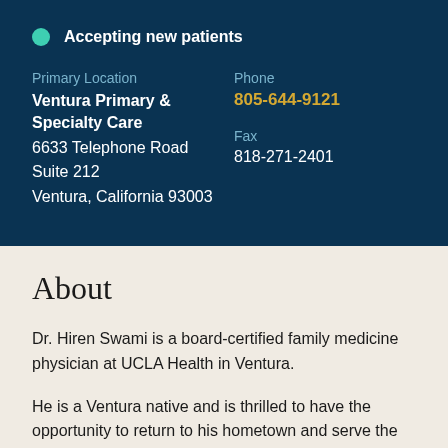Accepting new patients
Primary Location
Ventura Primary & Specialty Care
6633 Telephone Road
Suite 212
Ventura, California 93003
Phone
805-644-9121
Fax
818-271-2401
About
Dr. Hiren Swami is a board-certified family medicine physician at UCLA Health in Ventura.
He is a Ventura native and is thrilled to have the opportunity to return to his hometown and serve the local